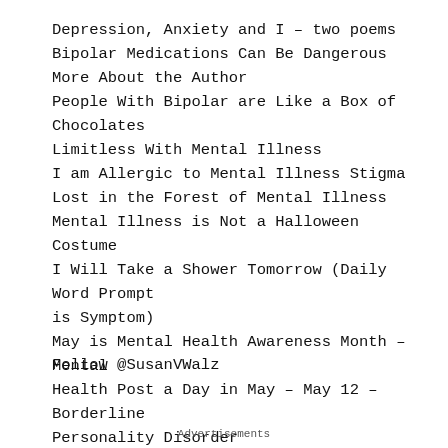Depression, Anxiety and I – two poems
Bipolar Medications Can Be Dangerous
More About the Author
People With Bipolar are Like a Box of Chocolates
Limitless With Mental Illness
I am Allergic to Mental Illness Stigma
Lost in the Forest of Mental Illness
Mental Illness is Not a Halloween Costume
I Will Take a Shower Tomorrow (Daily Word Prompt is Symptom)
May is Mental Health Awareness Month – Mental Health Post a Day in May – May 12 – Borderline Personality Disorder
Follow @SusanVWalz
Advertisements